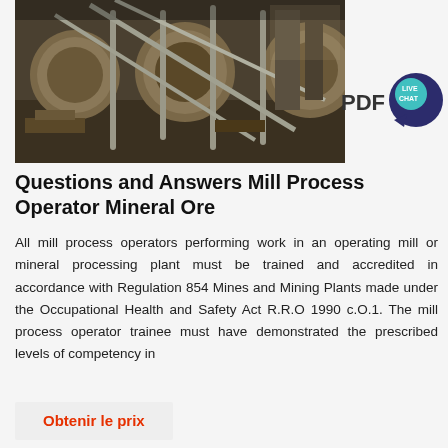[Figure (photo): Industrial mining mill equipment — large cylindrical drums and metal railings inside a mining plant facility]
[Figure (logo): PDF text with a teal speech bubble icon labeled LIVE CHAT in dark navy color]
Questions and Answers Mill Process Operator Mineral Ore
All mill process operators performing work in an operating mill or mineral processing plant must be trained and accredited in accordance with Regulation 854 Mines and Mining Plants made under the Occupational Health and Safety Act R.R.O 1990 c.O.1. The mill process operator trainee must have demonstrated the prescribed levels of competency in
Obtenir le prix